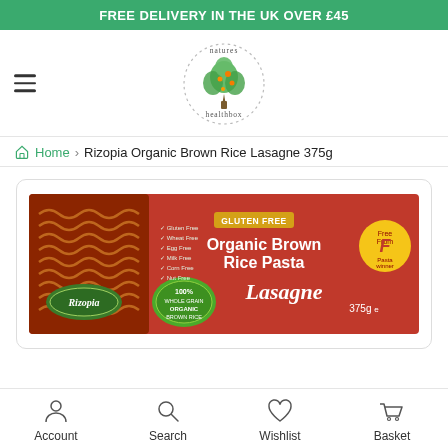FREE DELIVERY IN THE UK OVER £45
[Figure (logo): Natures Healthbox logo — a tree made of green and orange leaves inside a dotted circle, with 'natures healthbox' text]
Home > Rizopia Organic Brown Rice Lasagne 375g
[Figure (photo): Rizopia Organic Brown Rice Lasagne 375g product box — red box with lasagne sheets visible, text: GLUTEN FREE, Organic Brown Rice Pasta, Lasagne, 375g, 100% Whole Grain Organic Brown Rice, Rizopia logo, award badge]
Account  Search  Wishlist  Basket